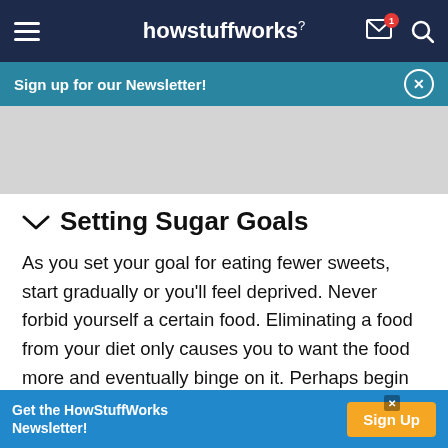howstuffworks
Sign up for our Newsletter!
[Figure (other): Gray advertisement placeholder rectangle]
Setting Sugar Goals
As you set your goal for eating fewer sweets, start gradually or you'll feel deprived. Never forbid yourself a certain food. Eliminating a food from your diet only causes you to want the food more and eventually binge on it. Perhaps begin with goals
Get the HowStuffWorks Newsletter! Sign Up